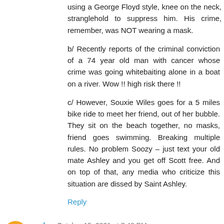using a George Floyd style, knee on the neck, stranglehold to suppress him. His crime, remember, was NOT wearing a mask.
b/ Recently reports of the criminal conviction of a 74 year old man with cancer whose crime was going whitebaiting alone in a boat on a river. Wow !! high risk there !!
c/ However, Souxie Wiles goes for a 5 miles bike ride to meet her friend, out of her bubble. They sit on the beach together, no masks, friend goes swimming. Breaking multiple rules. No problem Soozy – just text your old mate Ashley and you get off Scott free. And on top of that, any media who criticize this situation are dissed by Saint Ashley.
Reply
pdm October 15, 2021 at 7:48 PM
Siouxsie Wiles clear leader in New Zealand's hypocrite of the year awards.